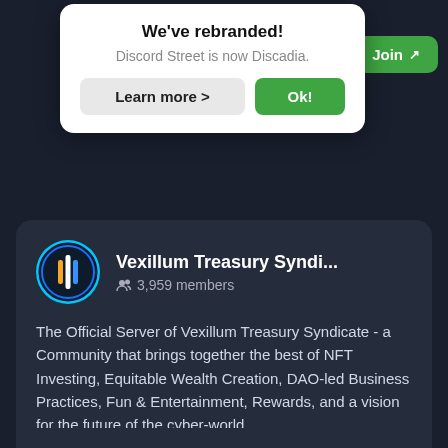[Figure (screenshot): Rebrand popup notification saying 'We've rebranded! Discord Street is now Discadia.' with Learn more and Ok buttons, and View/Join buttons for a server listing]
We've rebranded!
Discord Street is now Discadia.
Learn more >
Ok!
View
Join
Vexillum Treasury Syndi...
3,959 members
The Official Server of Vexillum Treasury Syndicate - a Community that brings together the best of NFT Investing, Equitable Wealth Creation, DAO-led Business Practices, Fun & Entertainment, Rewards, and a vision for the future of the cyber-world.
View
Join